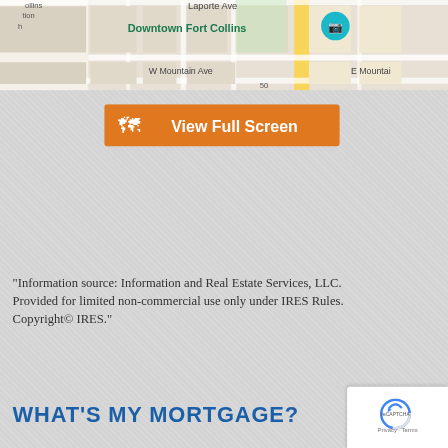[Figure (map): Google Maps screenshot showing Downtown Fort Collins area with streets including Laporte Ave and W Mountain Ave / E Mountain Ave. A teal location pin is visible.]
[Figure (other): Orange button with map icon and text 'View Full Screen']
"Information source: Information and Real Estate Services, LLC. Provided for limited non-commercial use only under IRES Rules. Copyright© IRES."
WHAT'S MY MORTGAGE?
[Figure (other): reCAPTCHA privacy badge in bottom-right corner showing 'Privacy · Terms']